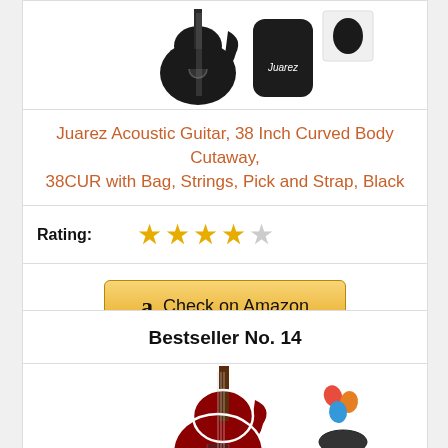[Figure (photo): Juarez acoustic guitar with bag - black, cutaway body, 38 inch]
Juarez Acoustic Guitar, 38 Inch Curved Body Cutaway, 38CUR with Bag, Strings, Pick and Strap, Black
Rating: ★★★★☆
Check on Amazon
Bestseller No. 14
[Figure (photo): Red/dark red acoustic guitar cutaway with picks, strap, and accessories]